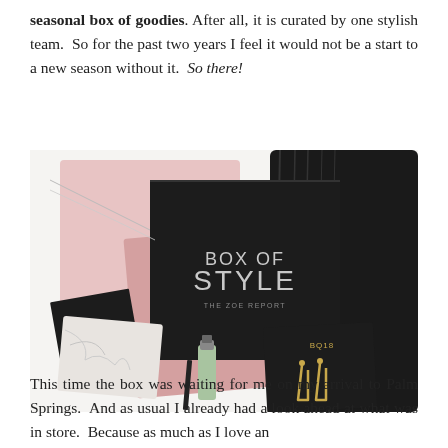seasonal box of goodies. After all, it is curated by one stylish team.  So for the past two years I feel it would not be a start to a new season without it.  So there!
[Figure (photo): Flat-lay photograph of Box of Style by The Zoe Report — a black gift box with white text, surrounded by accessories including earrings, nail polish, a marble compact, a black wallet, pink glitter fabric, and a black faux-fur stole on a white background.]
This time the box was waiting for me on my arrival to Palm Springs.  And as usual I already had a look ahead at what was in store.  Because as much as I love an